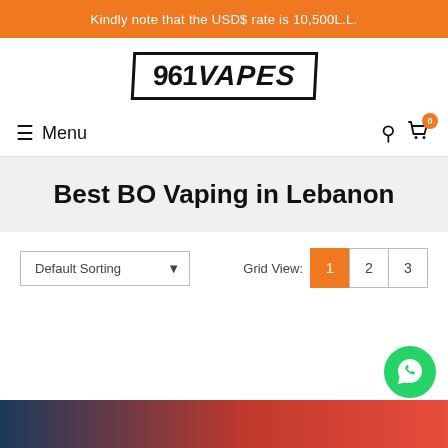Kindly note that the USD$ rate is 10,500L.L.
[Figure (logo): 961VAPES logo in bold/italic text inside a rectangular border]
Menu
Best BO Vaping in Lebanon
Default Sorting — Grid View: 1 2 3
[Figure (illustration): WhatsApp contact button (green circle with chat icon)]
[Figure (photo): Partial product image at bottom, dark blue and red colors visible]